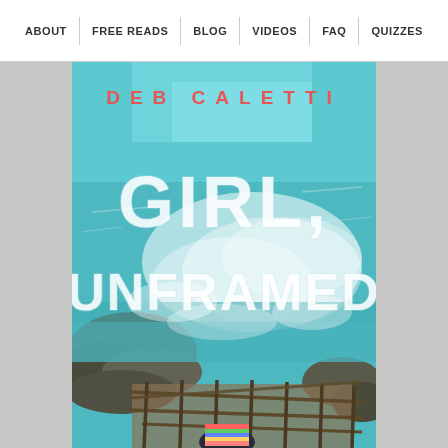ABOUT | FREE READS | BLOG | VIDEOS | FAQ | QUIZZES
[Figure (illustration): Book cover for 'Girl, Unframed' by Deb Caletti. Features an aerial view of turquoise ocean waves crashing against rocky cliffs, with a wooden railing/fence stairway in the lower portion and a person visible at the bottom. The author name 'DEB CALETTI' appears in red spaced capital letters at the top, and the title 'GIRL, UNFRAMED' appears in large white block letters in the center.]